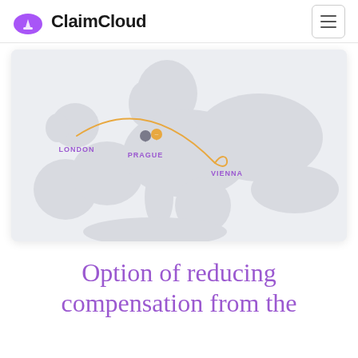ClaimCloud
[Figure (map): Map of Europe showing flight route from London to Vienna via Prague. An arc connects London to Vienna with a stop near Prague. City labels: LONDON, PRAGUE, VIENNA. Map pins mark Prague and a nearby point.]
Option of reducing compensation from the